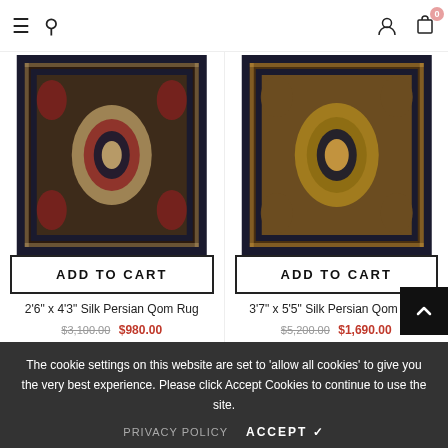Navigation bar with hamburger menu, search, account, and cart icons
[Figure (photo): Persian silk rug with ornate dark medallion pattern on beige background]
ADD TO CART
2'6" x 4'3" Silk Persian Qom Rug
$3,100.00  $980.00
[Figure (photo): Persian silk rug with intricate dark border and golden center medallion pattern]
ADD TO CART
3'7" x 5'5" Silk Persian Qom Rug
$5,200.00  $1,690.00
The cookie settings on this website are set to 'allow all cookies' to give you the very best experience. Please click Accept Cookies to continue to use the site.
PRIVACY POLICY   ACCEPT ✓
ADD TO CART